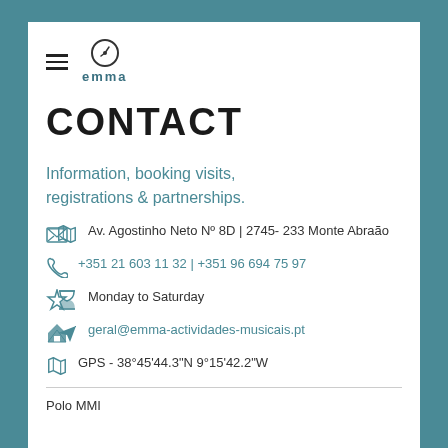emma
CONTACT
Information, booking visits, registrations & partnerships.
Av. Agostinho Neto Nº 8D | 2745- 233 Monte Abraão
+351 21 603 11 32 | +351 96 694 75 97
Monday to Saturday
geral@emma-actividades-musicais.pt
GPS - 38°45'44.3"N 9°15'42.2"W
Polo MMI